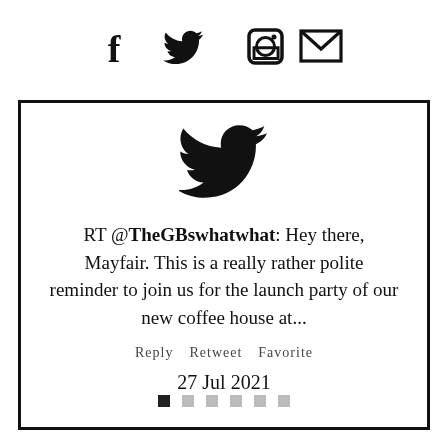[Figure (illustration): Social media icons: Facebook (f), Twitter bird, Instagram (O circle), Email (envelope/X)]
[Figure (logo): Twitter bird logo (large, black silhouette)]
RT @TheGBswhatwhat: Hey there, Mayfair. This is a really rather polite reminder to join us for the launch party of our new coffee house at...
Reply   Retweet   Favorite
27 Jul 2021
[Figure (other): Navigation dots: one filled black square, five light grey squares]